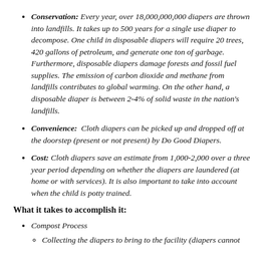Conservation: Every year, over 18,000,000,000 diapers are thrown into landfills. It takes up to 500 years for a single use diaper to decompose. One child in disposable diapers will require 20 trees, 420 gallons of petroleum, and generate one ton of garbage. Furthermore, disposable diapers damage forests and fossil fuel supplies. The emission of carbon dioxide and methane from landfills contributes to global warming. On the other hand, a disposable diaper is between 2-4% of solid waste in the nation's landfills.
Convenience: Cloth diapers can be picked up and dropped off at the doorstep (present or not present) by Do Good Diapers.
Cost: Cloth diapers save an estimate from 1,000-2,000 over a three year period depending on whether the diapers are laundered (at home or with services). It is also important to take into account when the child is potty trained.
What it takes to accomplish it:
Compost Process
Collecting the diapers to bring to the facility (diapers cannot